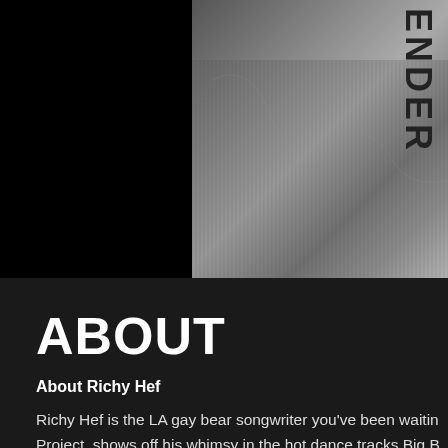[Figure (photo): Black and white photo showing a person in a grey t-shirt with a tattoo reading 'ENDER' visible on the right side. The left portion of the image is mostly black/dark.]
ABOUT
About Richy Hef
Richy Hef is the LA gay bear songwriter you've been waitin Project, shows off his whimsy in the hot dance tracks Big B Broadway musical theatre chops come to full emotional ligh He's been compared to Moby and the supergroup, Yaz, yet positive, gender-bendy, funny, happy, sad, clever, poignant Mormon Utah, Richy has been writing and performing Elton worked with Giorgio Moroder and been on stage with Carol